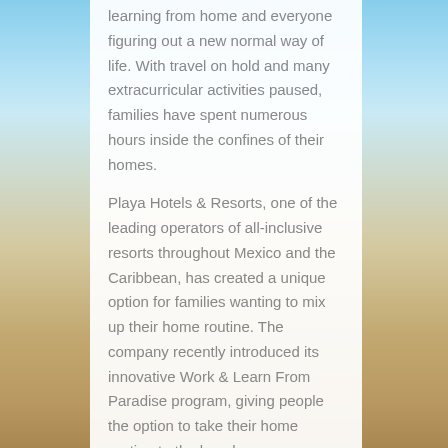learning from home and everyone figuring out a new normal way of life. With travel on hold and many extracurricular activities paused, families have spent numerous hours inside the confines of their homes.
Playa Hotels & Resorts, one of the leading operators of all-inclusive resorts throughout Mexico and the Caribbean, has created a unique option for families wanting to mix up their home routine. The company recently introduced its innovative Work & Learn From Paradise program, giving people the option to take their home routine to the beach.
The program, currently available now through